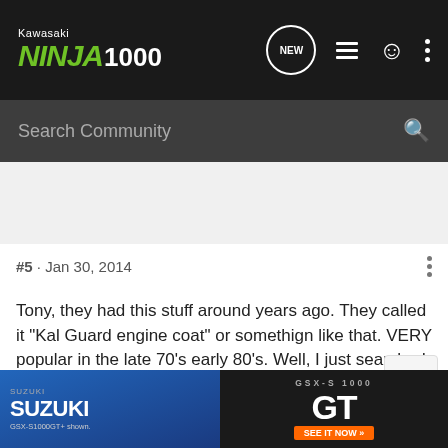Kawasaki Ninja 1000 - forum header with search bar
rcannon409 · Premium Member
Joined Dec 4, 2013 · 15,533 Posts
#5 · Jan 30, 2014
Tony, they had this stuff around years ago. They called it "Kal Guard engine coat" or somethign like that. VERY popular in the late 70's early 80's. Well, I just searched, and its still around...Engine Gard : Kal-Gard
Oddly enough, it was 8.95 for a tiny bottle, way back then. Oil was 75 cents per quart.
We all b...pect if it really...mulated
[Figure (screenshot): Suzuki GSX-S1000 GT advertisement banner at the bottom of the page]